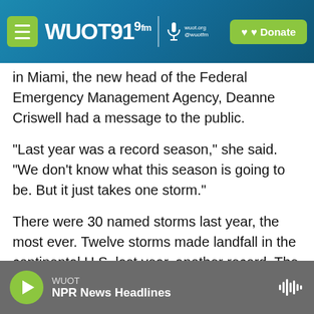WUOT 91.9 FM | wuot.org @wuotfm | Donate
in Miami, the new head of the Federal Emergency Management Agency, Deanne Criswell had a message to the public.
"Last year was a record season," she said. "We don't know what this season is going to be. But it just takes one storm."
There were 30 named storms last year, the most ever. Twelve storms made landfall in the continental U.S. last year, another record. The most powerful, Hurricane Laura, produced a 17-foot storm surge, the highest ever recorded in
WUOT | NPR News Headlines